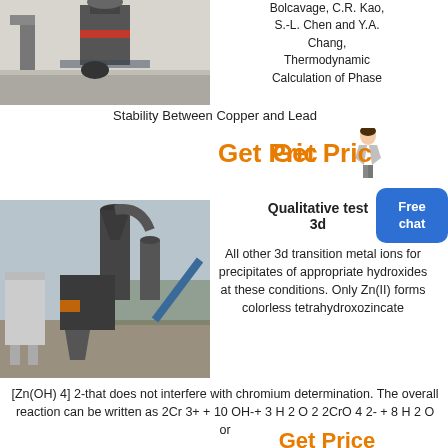[Figure (photo): Industrial machinery/mill equipment in a large facility, grey industrial setting]
Bolcavage, C.R. Kao, S.-L. Chen and Y.A. Chang, Thermodynamic Calculation of Phase Stability Between Copper and Lead
Stability Between Copper and Lead
Get Price
[Figure (photo): Industrial grinding/milling plant with cyclone dust collectors and conveyors, outdoor industrial site]
Qualitative test 3d
All other 3d transition metal ions for precipitates of appropriate hydroxides at these conditions. Only Zn(II) forms colorless tetrahydroxozincate [Zn(OH) 4] 2-that does not interfere with chromium determination. The overall reaction can be written as 2Cr 3+ + 10 OH-+ 3 H 2 O 2 2CrO 4 2- + 8 H 2 O or
Get Price